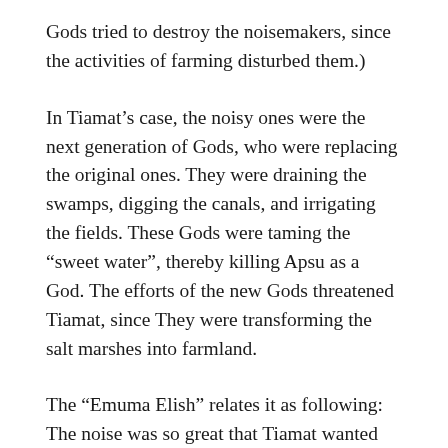Gods tried to destroy the noisemakers, since the activities of farming disturbed them.)
In Tiamat’s case, the noisy ones were the next generation of Gods, who were replacing the original ones. They were draining the swamps, digging the canals, and irrigating the fields. These Gods were taming the “sweet water”, thereby killing Apsu as a God. The efforts of the new Gods threatened Tiamat, since They were transforming the salt marshes into farmland.
The “Emuma Elish” relates it as following: The noise was so great that Tiamat wanted those Gods gone. Apsu, Her Consort, tried to convince Her otherwise, but failed. When Enlil discovered